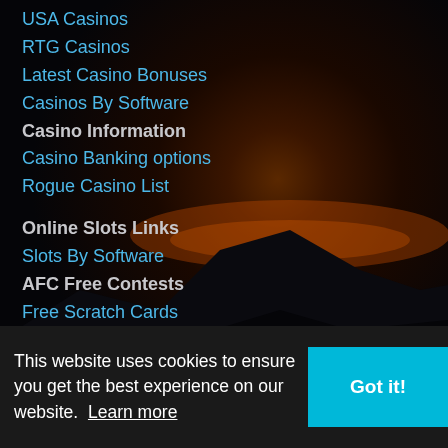USA Casinos
RTG Casinos
Latest Casino Bonuses
Casinos By Software
Casino Information
Casino Banking options
Rogue Casino List
Online Slots Links
Slots By Software
AFC Free Contests
Free Scratch Cards
AFC Dice Game
User Resources
Problem Gambling
Terms and Conditions
This website uses cookies to ensure you get the best experience on our website. Learn more
Got it!